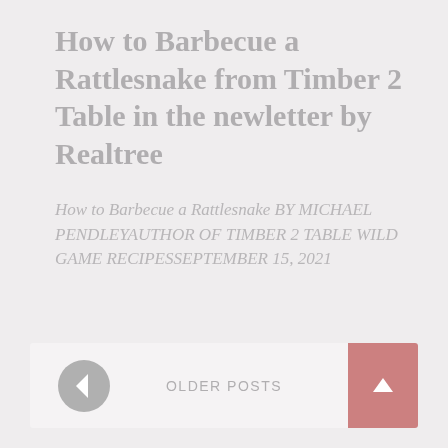How to Barbecue a Rattlesnake from Timber 2 Table in the newletter by Realtree
How to Barbecue a Rattlesnake BY MICHAEL PENDLEYAUTHOR OF TIMBER 2 TABLE WILD GAME RECIPESSEPTEMBER 15, 2021
By RVL / June 25, 2022
OLDER POSTS